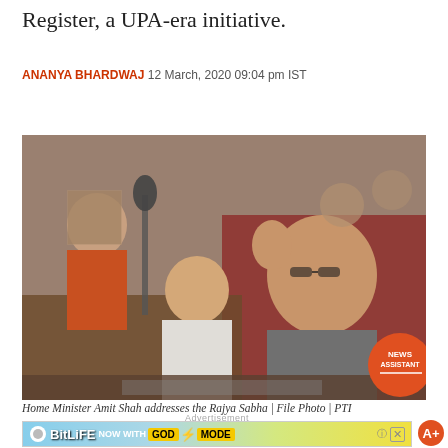Register, a UPA-era initiative.
ANANYA BHARDWAJ 12 March, 2020 09:04 pm IST
[Figure (photo): Home Minister Amit Shah addressing the Rajya Sabha, gesturing with his hand raised, with other parliamentarians visible in the background. A 'NEWS ASSISTANT' badge appears in the lower right corner of the photo.]
Home Minister Amit Shah addresses the Rajya Sabha | File Photo | PTI
[Figure (screenshot): Advertisement for BitLife game - 'NOW WITH GOD MODE' on a blue/yellow background with finger pointing graphic]